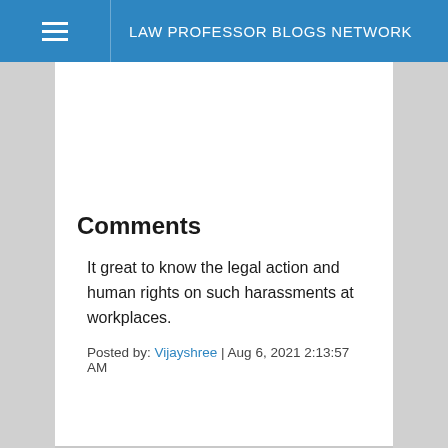LAW PROFESSOR BLOGS NETWORK
Comments
It great to know the legal action and human rights on such harassments at workplaces.
Posted by: Vijayshree | Aug 6, 2021 2:13:57 AM